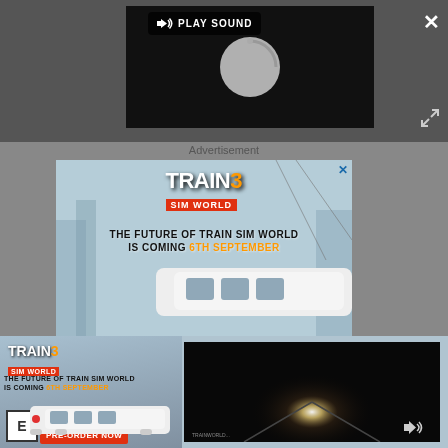[Figure (screenshot): Video player with black background, loading spinner, and Play Sound button overlay. Close (X) button top right, expand icon bottom right.]
PLAY SOUND
Advertisement
[Figure (illustration): Train Sim World 3 advertisement banner. Shows a high-speed white train in a snowy winter landscape. Text reads: TRAIN SIM WORLD 3 – THE FUTURE OF TRAIN SIM WORLD IS COMING 6TH SEPTEMBER]
[Figure (screenshot): Bottom portion showing Train Sim World 3 ad on left (PRE-ORDER NOW, ESRB E rating) and a dark video thumbnail on right showing a train in a tunnel with headlight.]